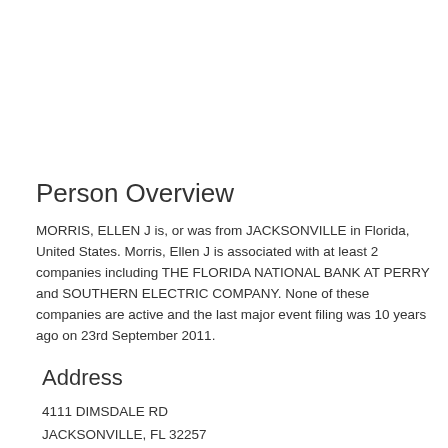Person Overview
MORRIS, ELLEN J is, or was from JACKSONVILLE in Florida, United States. Morris, Ellen J is associated with at least 2 companies including THE FLORIDA NATIONAL BANK AT PERRY and SOUTHERN ELECTRIC COMPANY. None of these companies are active and the last major event filing was 10 years ago on 23rd September 2011.
Address
4111 DIMSDALE RD
JACKSONVILLE, FL 32257
JACKSONVILLE